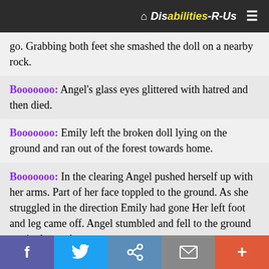Disabilities-R-Us
go. Grabbing both feet she smashed the doll on a nearby rock.
Booooooo: Angel's glass eyes glittered with hatred and then died.
Booooooo: Emily left the broken doll lying on the ground and ran out of the forest towards home.
Booooooo: In the clearing Angel pushed herself up with her arms. Part of her face toppled to the ground. As she struggled in the direction Emily had gone Her left foot and leg came off. Angel stumbled and fell to the ground motionless at last.
f  Twitter  Share  Email  +